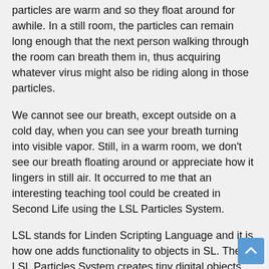particles are warm and so they float around for awhile. In a still room, the particles can remain long enough that the next person walking through the room can breath them in, thus acquiring whatever virus might also be riding along in those particles.
We cannot see our breath, except outside on a cold day, when you can see your breath turning into visible vapor. Still, in a warm room, we don't see our breath floating around or appreciate how it lingers in still air. It occurred to me that an interesting teaching tool could be created in Second Life using the LSL Particles System.
LSL stands for Linden Scripting Language and it is how one adds functionality to objects in SL. The LSL Particles System creates tiny digital objects that behave like RL dust, fireflies, fire, water vapor, etc.